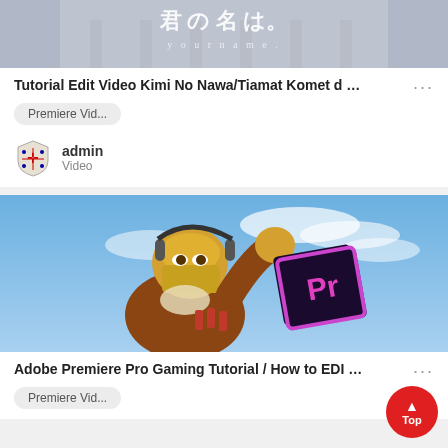[Figure (screenshot): Video thumbnail with Japanese text 君の名は. (your name) over a building background]
Tutorial Edit Video Kimi No Nawa/Tiamat Komet d …
Premiere Vid...
admin
Video
[Figure (screenshot): Video thumbnail showing a Fortnite-style character with yellow headgear and the Adobe Premiere Pro logo on a sky background]
Adobe Premiere Pro Gaming Tutorial / How to EDI …
Premiere Vid...